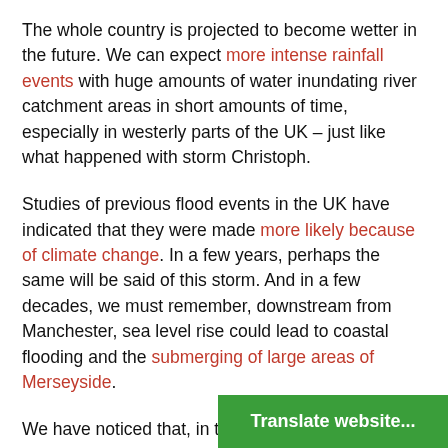The whole country is projected to become wetter in the future. We can expect more intense rainfall events with huge amounts of water inundating river catchment areas in short amounts of time, especially in westerly parts of the UK – just like what happened with storm Christoph.
Studies of previous flood events in the UK have indicated that they were made more likely because of climate change. In a few years, perhaps the same will be said of this storm. And in a few decades, we must remember, downstream from Manchester, sea level rise could lead to coastal flooding and the submerging of large areas of Merseyside.
We have noticed that, in the immediacy of storm Christoph, not many people are talking about climate change. This is understandable, as the current worry is about personal safety and property damage. The [obscured] bravely reacting to the immediat[e]